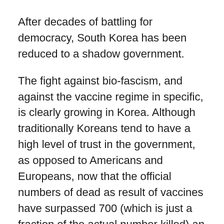After decades of battling for democracy, South Korea has been reduced to a shadow government.
The fight against bio-fascism, and against the vaccine regime in specific, is clearly growing in Korea. Although traditionally Koreans tend to have a high level of trust in the government, as opposed to Americans and Europeans, now that the official numbers of dead as result of vaccines have surpassed 700 (which is just a fraction of the actual number killed) an unspoken unease is creeping into conversations. Whereas friends asked each other whether they had been vaccinated as a new greeting, and donned that cute “I was vaccinated” buttons given out by the government, harsh anti-vaccination postings, and demands for the execution of public officials on the internet are increasing.